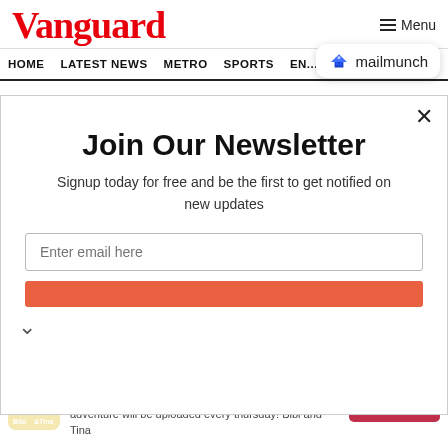Vanguard
Menu
[Figure (logo): Mailmunch logo badge with blue M icon]
HOME  LATEST NEWS  METRO  SPORTS  ENTERTAINMENT  VIDEOS
Join Our Newsletter
Signup today for free and be the first to get notified on new updates
Enter email here
Subscribe
[Figure (logo): Bibi and Tina YT Channel advertisement with logo]
Bibi and Tina YT Channel
The Official Bibi & Tina YouTube Channel. A new adventure will be uploaded every thursday! Bibi and Tina